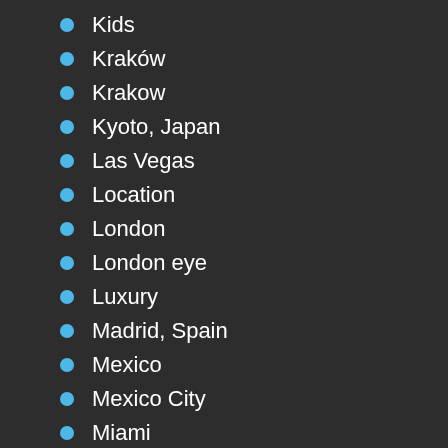Kids
Kraków
Krakow
Kyoto, Japan
Las Vegas
Location
London
London eye
Luxury
Madrid, Spain
Mexico
Mexico City
Miami
middle east
Milan